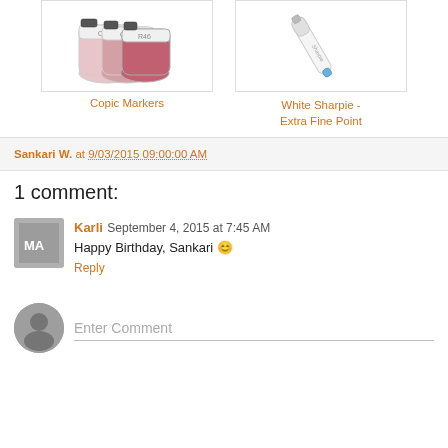[Figure (photo): Two product images side by side: Copic Markers and White Sharpie Extra Fine Point marker]
Copic Markers
White Sharpie - Extra Fine Point
Sankari W. at 9/03/2015 09:00:00 AM
1 comment:
Karli September 4, 2015 at 7:45 AM
Happy Birthday, Sankari 😊
Reply
Enter Comment